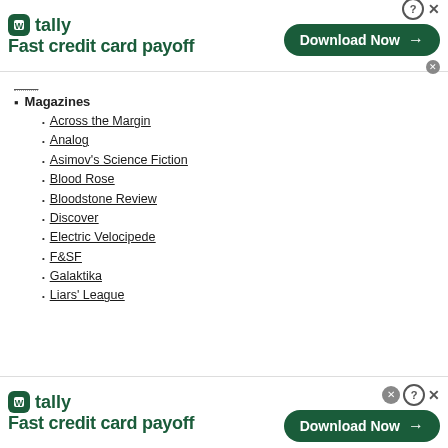[Figure (other): Tally app advertisement banner at top: logo, 'Fast credit card payoff' tagline, and 'Download Now' button]
Magazines
Across the Margin
Analog
Asimov's Science Fiction
Blood Rose
Bloodstone Review
Discover
Electric Velocipede
F&SF
Galaktika
Liars' League
Newtown Literary
On Magazine
Piltdown Review
Realms of Fantasy
Salon
Science Fiction Age
Storyteller
[Figure (other): Tally app advertisement banner at bottom: logo, 'Fast credit card payoff' tagline, and 'Download Now' button]